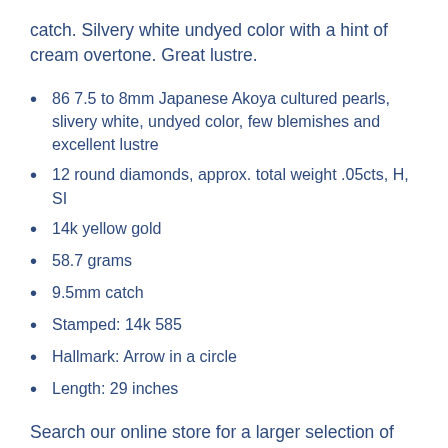catch. Silvery white undyed color with a hint of cream overtone. Great lustre.
86 7.5 to 8mm Japanese Akoya cultured pearls, slivery white, undyed color, few blemishes and excellent lustre
12 round diamonds, approx. total weight .05cts, H, SI
14k yellow gold
58.7 grams
9.5mm catch
Stamped: 14k 585
Hallmark: Arrow in a circle
Length: 29 inches
Search our online store for a larger selection of our Gold Necklaces, Pearl Necklaces, Diamond Necklaces, Beaded Necklaces, Art Deco Necklaces, Vintage